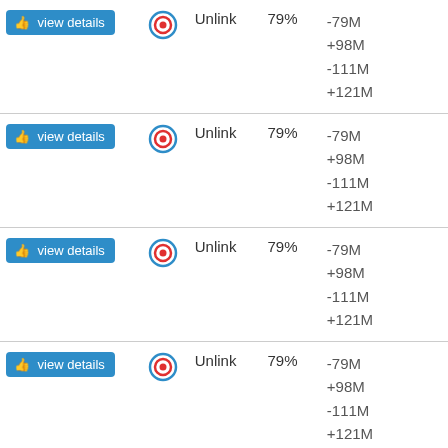| view details | ● | Unlink | 79% | -79M
+98M
-111M
+121M |
| view details | ● | Unlink | 79% | -79M
+98M
-111M
+121M |
| view details | ● | Unlink | 79% | -79M
+98M
-111M
+121M |
| view details | ● | Unlink | 79% | -79M
+98M
-111M
+121M |
| view details | ● | Unlink | 79% | -79M
+98M
-111M
+121M |